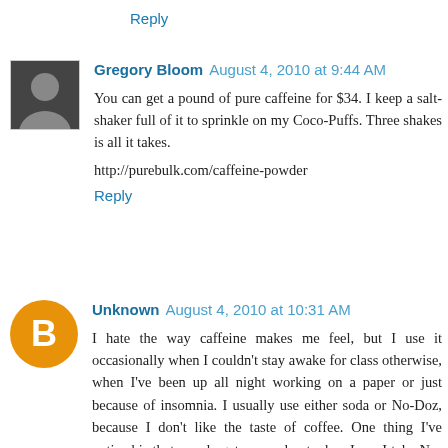Reply
Gregory Bloom August 4, 2010 at 9:44 AM
You can get a pound of pure caffeine for $34. I keep a salt-shaker full of it to sprinkle on my Coco-Puffs. Three shakes is all it takes.
http://purebulk.com/caffeine-powder
Reply
Unknown August 4, 2010 at 10:31 AM
I hate the way caffeine makes me feel, but I use it occasionally when I couldn't stay awake for class otherwise, when I've been up all night working on a paper or just because of insomnia. I usually use either soda or No-Doz, because I don't like the taste of coffee. One thing I've noticed is that people get creeped out when I say I take No-Doz. It's just caffeine, and one tablet is the equivalent dose to two cups of coffee, but something about it being in pill form rather than in a beverage makes it seem more